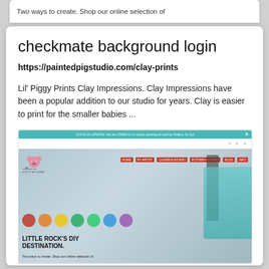[Figure (screenshot): Partial screenshot snippet at top showing 'Two ways to create. Shop our online selection of']
checkmate background login
https://paintedpigstudio.com/clay-prints
Lil' Piggy Prints Clay Impressions. Clay Impressions have been a popular addition to our studio for years. Clay is easier to print for the smaller babies ...
[Figure (screenshot): Screenshot of paintedpigstudio.com website showing teal notification bar, Painted Pig logo, colorful circles/handprints, 'LITTLE ROCK'S DIY DESTINATION.' headline, and partial text 'Two ways to create. Shop our online selection of']